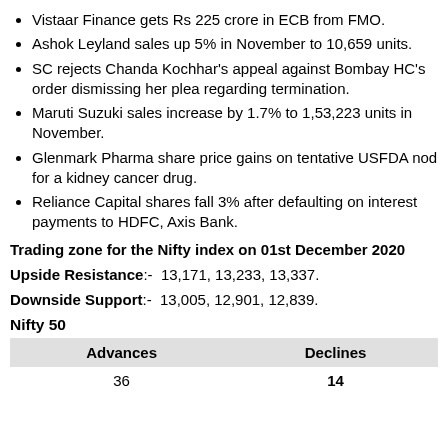Vistaar Finance gets Rs 225 crore in ECB from FMO.
Ashok Leyland sales up 5% in November to 10,659 units.
SC rejects Chanda Kochhar's appeal against Bombay HC's order dismissing her plea regarding termination.
Maruti Suzuki sales increase by 1.7% to 1,53,223 units in November.
Glenmark Pharma share price gains on tentative USFDA nod for a kidney cancer drug.
Reliance Capital shares fall 3% after defaulting on interest payments to HDFC, Axis Bank.
Trading zone for the Nifty index on 01st December 2020
Upside Resistance:-  13,171, 13,233, 13,337.
Downside Support:-  13,005, 12,901, 12,839.
Nifty 50
| Advances | Declines |
| --- | --- |
| 36 | 14 |